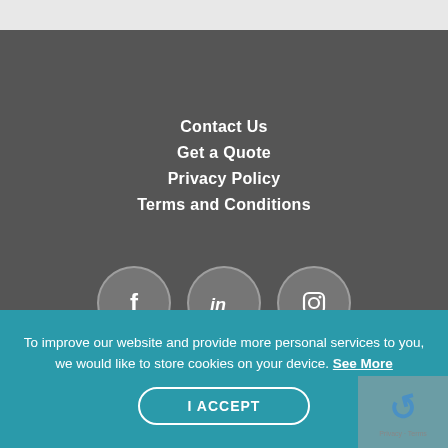Contact Us
Get a Quote
Privacy Policy
Terms and Conditions
[Figure (illustration): Three social media icon circles: Facebook (f), LinkedIn (in), Instagram (camera icon)]
To improve our website and provide more personal services to you, we would like to store cookies on your device. See More
I ACCEPT